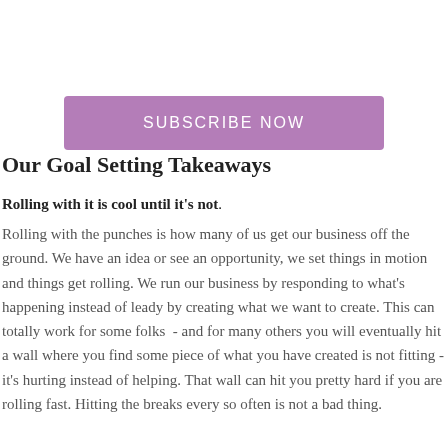Our Goal Setting Takeaways
[Figure (other): Purple 'SUBSCRIBE NOW' button]
Rolling with it is cool until it's not.
Rolling with the punches is how many of us get our business off the ground. We have an idea or see an opportunity, we set things in motion and things get rolling. We run our business by responding to what's happening instead of leady by creating what we want to create. This can totally work for some folks  - and for many others you will eventually hit a wall where you find some piece of what you have created is not fitting - it's hurting instead of helping. That wall can hit you pretty hard if you are rolling fast. Hitting the breaks every so often is not a bad thing.